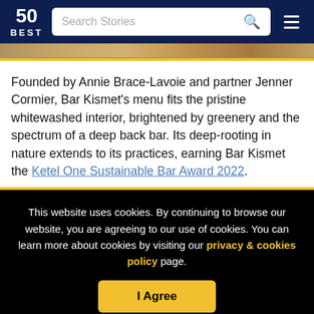50 BEST | Search Stories
[Figure (screenshot): Partial image strip showing a restaurant interior, partially visible at top of content area]
Founded by Annie Brace-Lavoie and partner Jenner Cormier, Bar Kismet's menu fits the pristine whitewashed interior, brightened by greenery and the spectrum of a deep back bar. Its deep-rooting in nature extends to its practices, earning Bar Kismet the Ketel One Sustainable Bar Award 2022.
This website uses cookies. By continuing to browse our website, you are agreeing to our use of cookies. You can learn more about cookies by visiting our privacy & cookies policy page.
I Agree